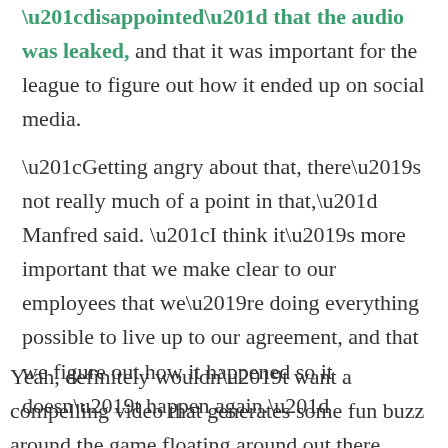“disappointed” that the audio was leaked, and that it was important for the league to figure out how it ended up on social media.
“Getting angry about that, there’s not really much of a point in that,” Manfred said. “I think it’s more important that we make clear to our employees that we’re doing everything possible to live up to our agreement, and that we figure out how it happened so it doesn’t happen again.”
Yeah, definitely wouldn’t want a compelling video that generates some fun buzz around the game floating around out there. That’s about right.